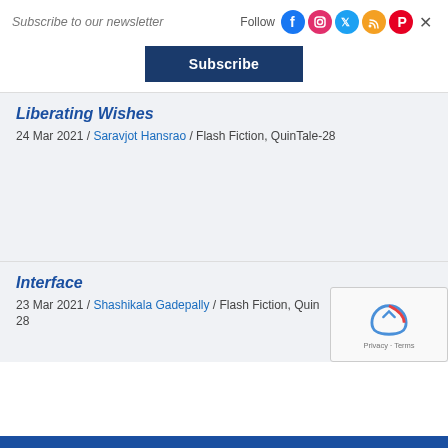Subscribe to our newsletter
Follow
[Figure (logo): Social media icons: Facebook, Instagram, Twitter, RSS, Pinterest, X/Close]
Subscribe
Liberating Wishes
24 Mar 2021 / Saravjot Hansrao / Flash Fiction, QuinTale-28
Interface
23 Mar 2021 / Shashikala Gadepally / Flash Fiction, Quin 28